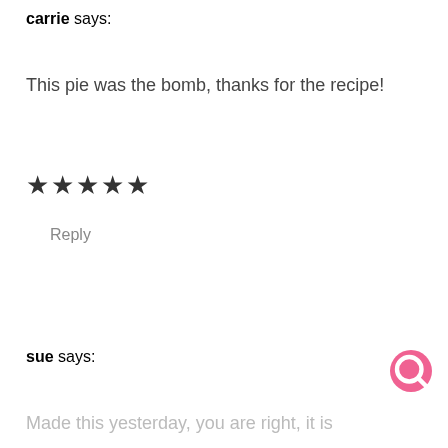carrie says:
This pie was the bomb, thanks for the recipe!
★★★★★
Reply
sue says:
Made this yesterday, you are right, it is